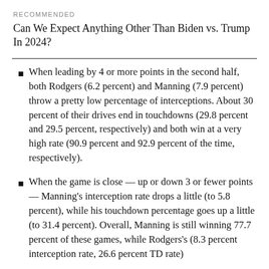RECOMMENDED
Can We Expect Anything Other Than Biden vs. Trump In 2024?
When leading by 4 or more points in the second half, both Rodgers (6.2 percent) and Manning (7.9 percent) throw a pretty low percentage of interceptions. About 30 percent of their drives end in touchdowns (29.8 percent and 29.5 percent, respectively) and both win at a very high rate (90.9 percent and 92.9 percent of the time, respectively).
When the game is close — up or down 3 or fewer points — Manning's interception rate drops a little (to 5.8 percent), while his touchdown percentage goes up a little (to 31.4 percent). Overall, Manning is still winning 77.7 percent of these games, while Rodgers's (8.3 percent interception rate, 26.6 percent TD rate)